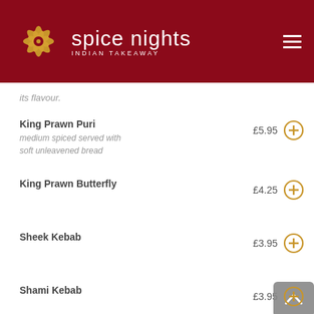[Figure (logo): Spice Nights Indian Takeaway logo with golden flower/star graphic and white text on dark red background, with hamburger menu icon top right]
its flavour.
King Prawn Puri - £5.95 - medium spiced served with soft unleavened bread
King Prawn Butterfly - £4.25
Sheek Kebab - £3.95
Shami Kebab - £3.95